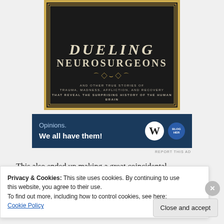[Figure (illustration): Book cover for 'Dueling Neurosurgeons and Other True Stories of Trauma, Madness, Affliction, and Recovery That Reveal the Surprising History of the Human Brain'. Dark black background with gold border, serif typography in cream/gold colors.]
[Figure (screenshot): Advertisement banner with dark blue background reading 'Opinions. We all have them!' with WordPress and another circular logo on the right.]
REPORT THIS AD
This also ended up making a great coincidental
Privacy & Cookies: This site uses cookies. By continuing to use this website, you agree to their use.
To find out more, including how to control cookies, see here: Cookie Policy
Close and accept